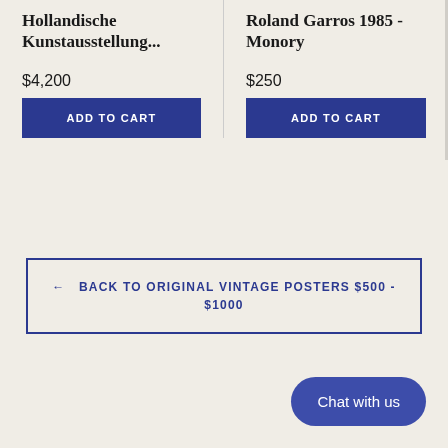Hollandische Kunstausstellung...
$4,200
ADD TO CART
Roland Garros 1985 - Monory
$250
ADD TO CART
← BACK TO ORIGINAL VINTAGE POSTERS $500 - $1000
Chat with us